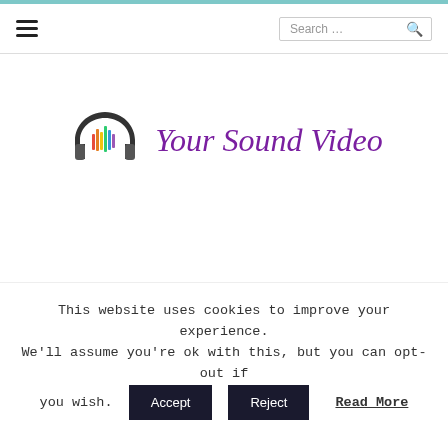Navigation bar with hamburger menu and search field
[Figure (logo): Your Sound Video logo with headphones icon and colorful sound wave bars, purple italic text reading 'Your Sound Video']
TAG: REAL ESTATE INVESTMENT
This website uses cookies to improve your experience. We'll assume you're ok with this, but you can opt-out if you wish. Accept Reject Read More